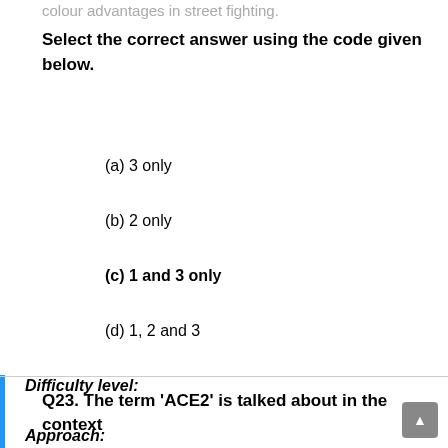colour advantages in street fighting.
Select the correct answer using the code given below.
(a) 3 only
(b) 2 only
(c) 1 and 3 only
(d) 1, 2 and 3
Difficulty level:
Approach:
Q23. The term 'ACE2' is talked about in the context